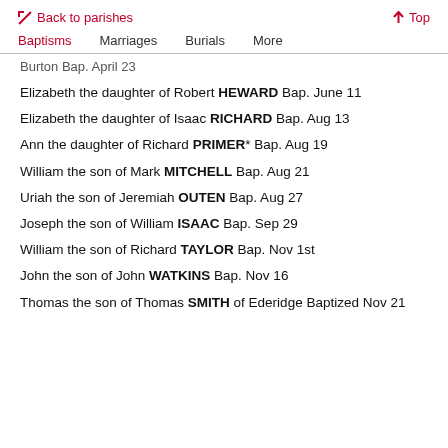← Back to parishes    ↑ Top
Baptisms   Marriages   Burials   More
Burton Bap. April 23
Elizabeth the daughter of Robert HEWARD Bap. June 11
Elizabeth the daughter of Isaac RICHARD Bap. Aug 13
Ann the daughter of Richard PRIMER* Bap. Aug 19
William the son of Mark MITCHELL Bap. Aug 21
Uriah the son of Jeremiah OUTEN Bap. Aug 27
Joseph the son of William ISAAC Bap. Sep 29
William the son of Richard TAYLOR Bap. Nov 1st
John the son of John WATKINS Bap. Nov 16
Thomas the son of Thomas SMITH of Ederidge Baptized Nov 21